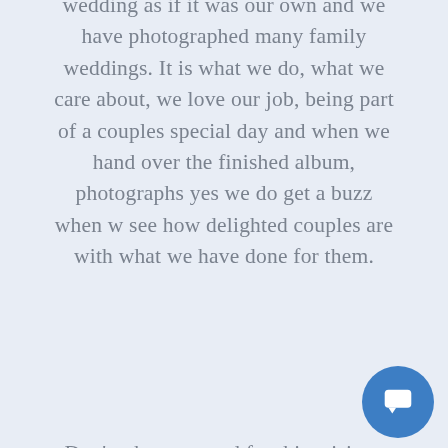wedding as if it was our own and we have photographed many family weddings. It is what we do, what we care about, we love our job, being part of a couples special day and when we hand over the finished album, photographs yes we do get a buzz when w see how delighted couples are with what we have done for them.
Don't take our word for this, visit us on Facebook, we have dozens upon dozens of genuine testimonials for you to see. All of our testimonials are 100% genuine and we can prove this as well.
How do we improve on something we are already